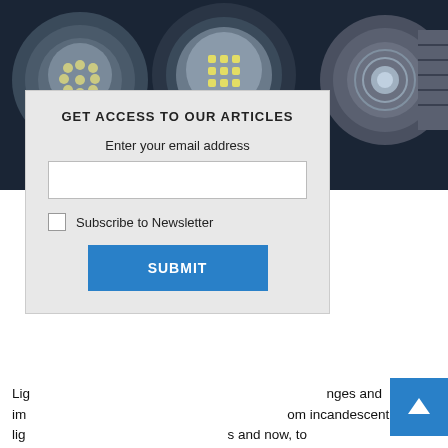[Figure (photo): Close-up photograph of multiple LED light bulbs showing their LED chip arrays, on a dark background.]
GET ACCESS TO OUR ARTICLES
Enter your email address
[email input field]
Subscribe to Newsletter
SUBMIT
Lig... nges and imp... rom incandescent ligh... os and now, to ligh... been driven by the foc... output and inc... urposes. It is aga... hieved tre... xpected to continue its growth in the future as well. In addition, the emergence of smart cities and smart homes has accelerated the adoption of smart LEDs as they can be connected and controlled wirelessly. The LED market has been constantly evolving to meet the rapidly changing demands and is now set to go much beyond the clean and green” tag.